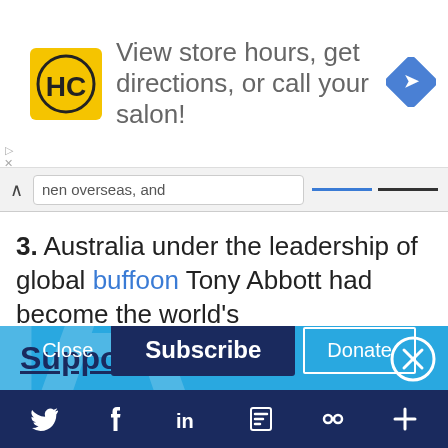[Figure (screenshot): Advertisement banner: HC logo (yellow square with stylized HC text), 'View store hours, get directions, or call your salon!' text, blue diamond navigation arrow icon]
nen overseas, and
3. Australia under the leadership of global buffoon Tony Abbott had become the world's
[Figure (screenshot): Blue popup modal overlay: 'Support IA' title (underlined, dark navy), close button (circled X), 'Subscribe to IA and investigate Australia today.' body text, Close / Subscribe / Donate buttons, large watermark IA logo in background]
[Figure (screenshot): Social media footer bar (dark navy): Twitter bird, Facebook f, LinkedIn in, Flipboard f, link/chain icon, plus icon]